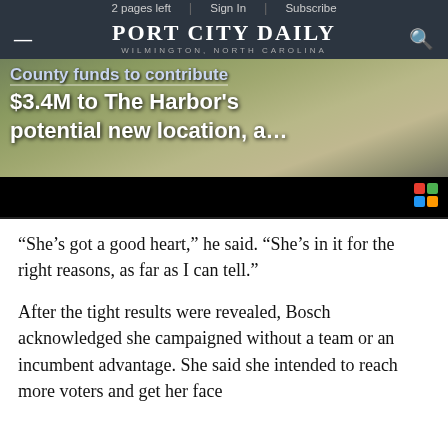2 pages left | Sign In | Subscribe — PORT CITY DAILY WILMINGTON, NORTH CAROLINA
[Figure (photo): Hero image showing a partially visible headline about county funds $3.4M to The Harbor's potential new location, overlaid on a grassy/sandy outdoor background with a black bar at the bottom]
“She’s got a good heart,” he said. “She’s in it for the right reasons, as far as I can tell.”
After the tight results were revealed, Bosch acknowledged she campaigned without a team or an incumbent advantage. She said she intended to reach more voters and get her face